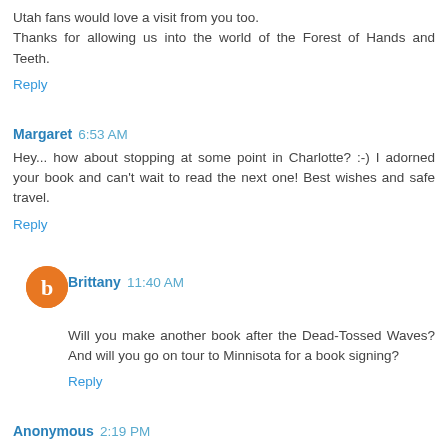Utah fans would love a visit from you too. Thanks for allowing us into the world of the Forest of Hands and Teeth.
Reply
Margaret 6:53 AM
Hey... how about stopping at some point in Charlotte? :-) I adorned your book and can't wait to read the next one! Best wishes and safe travel.
Reply
Brittany 11:40 AM
Will you make another book after the Dead-Tossed Waves? And will you go on tour to Minnisota for a book signing?
Reply
Anonymous 2:19 PM